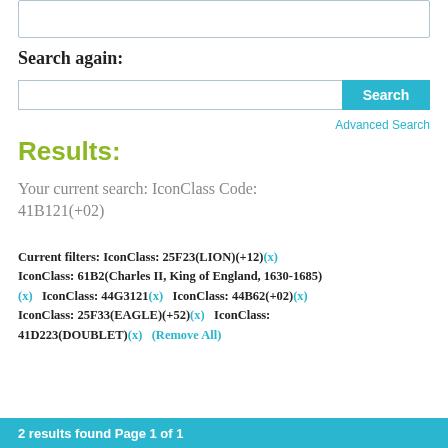Search again:
Search (button)
Advanced Search
Results:
Your current search: IconClass Code: 41B121(+02)
Current filters: IconClass: 25F23(LION)(+12)(x) IconClass: 61B2(Charles II, King of England, 1630-1685) (x) IconClass: 44G3121(x) IconClass: 44B62(+02)(x) IconClass: 25F33(EAGLE)(+52)(x) IconClass: 41D223(DOUBLET)(x) (Remove All)
2 results found Page 1 of 1